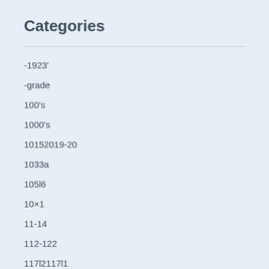Categories
-1923'
-grade
100's
1000's
10152019-20
1033a
105l6
10×1
11-14
112-122
117l2117l1
11a-116
11a7t